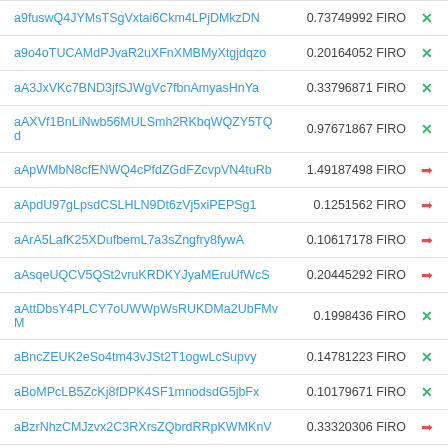| Address | Amount | Icon |
| --- | --- | --- |
| a9fuswQ4JYMsTSgVxtai6Ckm4LPjDMkzDN | 0.73749992 FIRO | × |
| a9o4oTUCAMdPJvaR2uXFnXMBMyXtgjdqzo | 0.20164052 FIRO | × |
| aA3JxVKc7BND3jfSJWgVc7fbnAmyasHnYa | 0.33796871 FIRO | × |
| aAXVf1BnLiNwb56MULSmh2RKbqWQZY5TQd | 0.97671867 FIRO | × |
| aApWMbN8cfENWQ4cPfdZGdFZcvpVN4tuRb | 1.49187498 FIRO | → |
| aApdU97gLpsdCSLHLN9Dt6zVj5xiPEPSg1 | 0.1251562 FIRO | → |
| aArA5LafK25XDufbemL7a3sZngfry8fywA | 0.10617178 FIRO | → |
| aAsqeUQCV5QSt2vruKRDKYJyaMEruUfWcS | 0.20445292 FIRO | → |
| aAttDbsY4PLCY7oUWWpWsRUKDMa2UbFMvM | 0.1998436 FIRO | × |
| aBncZEUK2eSo4tm43vJSt2T1ogwLcSupvy | 0.14781223 FIRO | × |
| aBoMPcLB5ZcKj8fDPK4SF1mnodsdG5jbFx | 0.10179671 FIRO | × |
| aBzrNhzCMJzvx2C3RXrsZQbrdRRpKWMKnV | 0.33320306 FIRO | → |
| aCDztS4L3sEAAnowqnyndTSdcck7RTTiUe | 0.1134371 FIRO | → |
| aCMTTjB6ftteKoPUpMUA14Ut1wsSBKg2SW | 0.11117164 FIRO | → |
| aCswqPs26vxRfNZwiw9mbnJM7AZPqa3viJ | 0.60203118 FIRO | × |